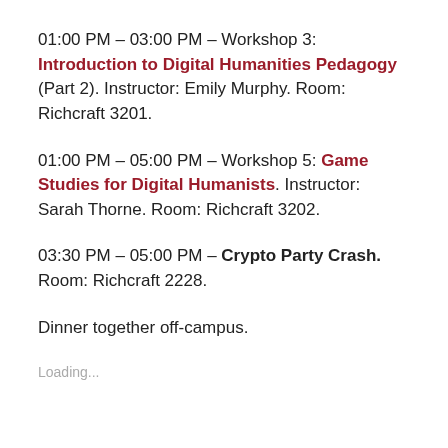01:00 PM – 03:00 PM – Workshop 3: Introduction to Digital Humanities Pedagogy (Part 2). Instructor: Emily Murphy. Room: Richcraft 3201.
01:00 PM – 05:00 PM – Workshop 5: Game Studies for Digital Humanists. Instructor: Sarah Thorne. Room: Richcraft 3202.
03:30 PM – 05:00 PM – Crypto Party Crash. Room: Richcraft 2228.
Dinner together off-campus.
Loading...